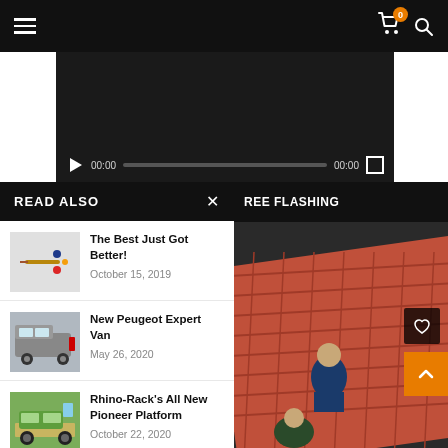[Figure (screenshot): Website navigation bar with hamburger menu icon on left and cart (badge showing 0) and search icons on right, black background]
[Figure (screenshot): Video player with dark background showing playback controls: play button, time 00:00, progress bar, time 00:00, and fullscreen button]
READ ALSO
The Best Just Got Better!
October 15, 2019
New Peugeot Expert Van
May 26, 2020
Rhino-Rack's All New Pioneer Platform
October 22, 2020
REE FLASHING
[Figure (photo): Photo of a person on a red tile roof with another person visible below]